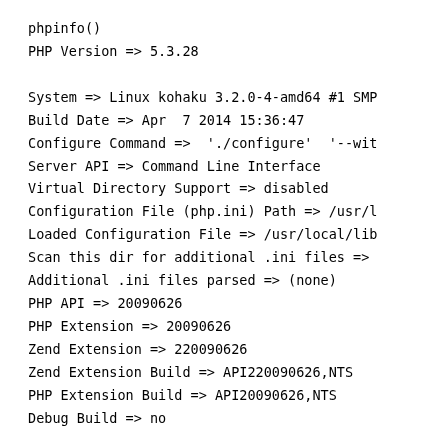phpinfo()
PHP Version => 5.3.28

System => Linux kohaku 3.2.0-4-amd64 #1 SMP
Build Date => Apr  7 2014 15:36:47
Configure Command =>  './configure'  '--wit
Server API => Command Line Interface
Virtual Directory Support => disabled
Configuration File (php.ini) Path => /usr/l
Loaded Configuration File => /usr/local/lib
Scan this dir for additional .ini files =>
Additional .ini files parsed => (none)
PHP API => 20090626
PHP Extension => 20090626
Zend Extension => 220090626
Zend Extension Build => API220090626,NTS
PHP Extension Build => API20090626,NTS
Debug Build => no